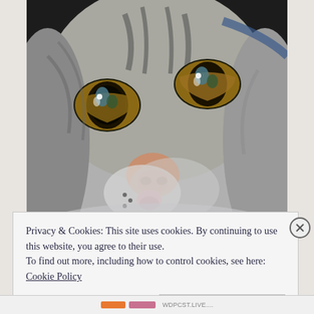[Figure (photo): Close-up photo of a tabby cat's face, showing large amber/green eyes with blue reflections, pink nose, white fur around muzzle, gray and brown striped fur, looking directly at camera]
Privacy & Cookies: This site uses cookies. By continuing to use this website, you agree to their use.
To find out more, including how to control cookies, see here:
Cookie Policy
Close and accept